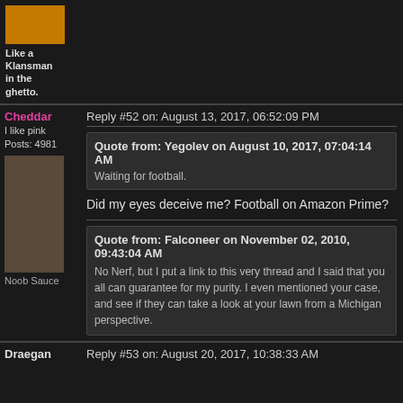Like a Klansman in the ghetto.
Cheddar
I like pink
Posts: 4981
Reply #52 on: August 13, 2017, 06:52:09 PM
Quote from: Yegolev on August 10, 2017, 07:04:14 AM
Waiting for football.
Did my eyes deceive me?  Football on Amazon Prime?
Noob Sauce
Quote from: Falconeer on November 02, 2010, 09:43:04 AM
No Nerf, but I put a link to this very thread and I said that you all can guarantee for my purity. I even mentioned your case, and see if they can take a look at your lawn from a Michigan perspective.
Draegan
Reply #53 on: August 20, 2017, 10:38:33 AM